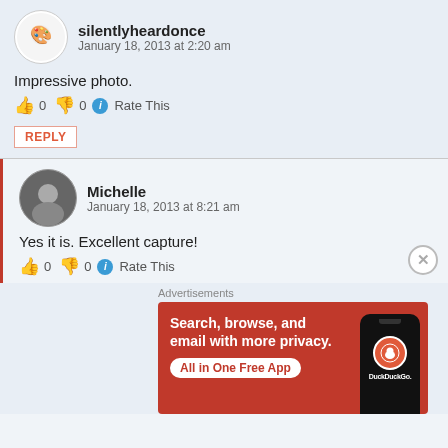silentlyheardonce
January 18, 2013 at 2:20 am
Impressive photo.
👍 0 👎 0 ℹ Rate This
REPLY
Michelle
January 18, 2013 at 8:21 am
Yes it is. Excellent capture!
👍 0 👎 0 ℹ Rate This
Advertisements
[Figure (screenshot): DuckDuckGo advertisement: orange background with phone mockup showing DuckDuckGo logo. Text: Search, browse, and email with more privacy. All in One Free App. DuckDuckGo.]